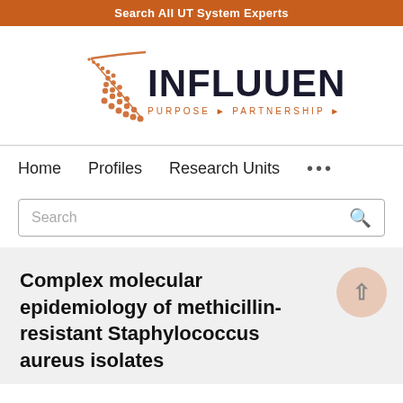Search All UT System Experts
[Figure (logo): Influuent logo with orange geometric design and tagline PURPOSE PARTNERSHIP PROGRESS]
Home   Profiles   Research Units   ...
Search
Complex molecular epidemiology of methicillin-resistant Staphylococcus aureus isolates